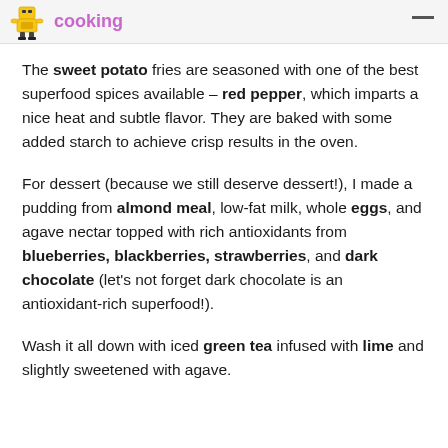cooking
The sweet potato fries are seasoned with one of the best superfood spices available – red pepper, which imparts a nice heat and subtle flavor. They are baked with some added starch to achieve crisp results in the oven.
For dessert (because we still deserve dessert!), I made a pudding from almond meal, low-fat milk, whole eggs, and agave nectar topped with rich antioxidants from blueberries, blackberries, strawberries, and dark chocolate (let's not forget dark chocolate is an antioxidant-rich superfood!).
Wash it all down with iced green tea infused with lime and slightly sweetened with agave.